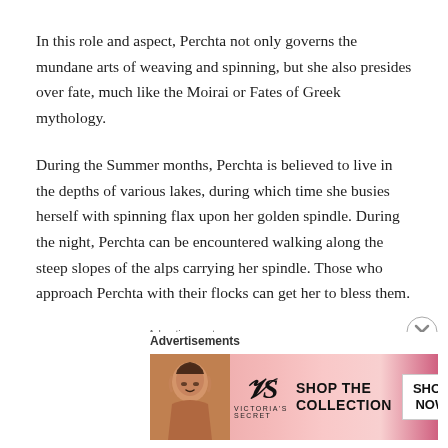In this role and aspect, Perchta not only governs the mundane arts of weaving and spinning, but she also presides over fate, much like the Moirai or Fates of Greek mythology.
During the Summer months, Perchta is believed to live in the depths of various lakes, during which time she busies herself with spinning flax upon her golden spindle. During the night, Perchta can be encountered walking along the steep slopes of the alps carrying her spindle. Those who approach Perchta with their flocks can get her to bless them.
[Figure (other): Victoria's Secret advertisement banner with a model, VS logo, 'SHOP THE COLLECTION' text and 'SHOP NOW' button]